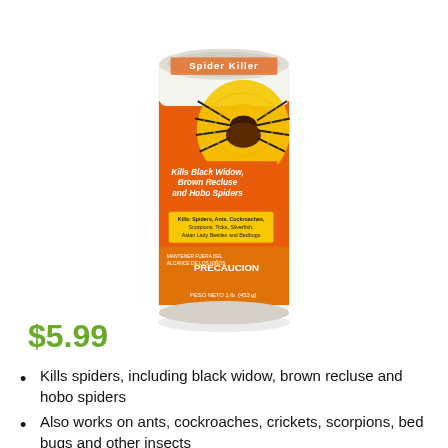[Figure (photo): Orange cylindrical can of Spider Killer insecticide product. The can features an image of a large spider on a yellow/orange background. Text on can reads 'Kills Black Widow, Brown Recluse and Hobo Spiders'. Yellow label area lists additional insects it kills including spiders, ants, cockroaches, scorpions, ticks, silverfish, Asian Lady Beetles and Bedbugs. Bottom of can shows 'PRECAUCION' warning text and net weight of 1 lb (453g).]
$5.99
Kills spiders, including black widow, brown recluse and hobo spiders
Also works on ants, cockroaches, crickets, scorpions, bed bugs and other insects
Provides rapid knockdown with extended killing power